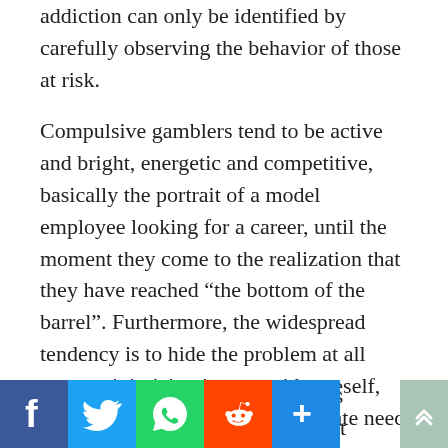addiction can only be identified by carefully observing the behavior of those at risk.
Compulsive gamblers tend to be active and bright, energetic and competitive, basically the portrait of a model employee looking for a career, until the moment they come to the realization that they have reached “the bottom of the barrel”. Furthermore, the widespread tendency is to hide the problem at all costs, minimizing it even with oneself, even if in reality there is a desperate need for help.
It is difficult to identify suspicious behavior in the workplace, it is not uncommon for an